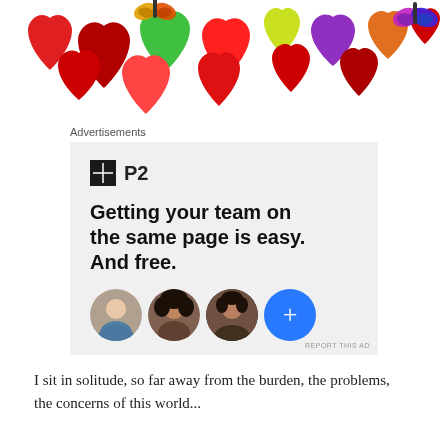[Figure (illustration): Decorative banner of colorful hearts (red, green, yellow, orange, purple, pink) and butterflies arranged in a row across the top of the page.]
Advertisements
[Figure (screenshot): Advertisement for P2 product. Shows P2 logo (black square icon with grid lines and 'P2' text), bold headline 'Getting your team on the same page is easy. And free.', and three circular profile photo avatars plus a blue circle with a plus sign. Bottom right shows 'REPORT THIS AD' text.]
I sit in solitude, so far away from the burden, the problems, the concerns of this world...